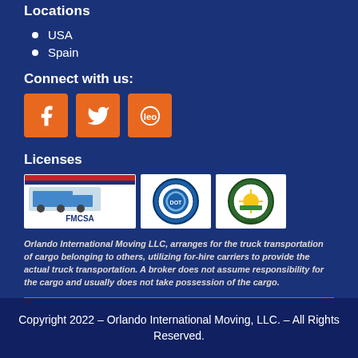Locations
USA
Spain
Connect with us:
[Figure (logo): Social media icons: Facebook, Twitter, and a third social icon (circular logo), all on orange square backgrounds]
Licenses
[Figure (logo): Three license badges: FMCSA (Federal Motor Carrier Safety Administration), US Department of Transportation seal, and USDA seal]
Orlando International Moving LLC, arranges for the truck transportation of cargo belonging to others, utilizing for-hire carriers to provide the actual truck transportation. A broker does not assume responsibility for the cargo and usually does not take possession of the cargo.
Copyright 2022 - Orlando International Moving, LLC. - All Rights Reserved.